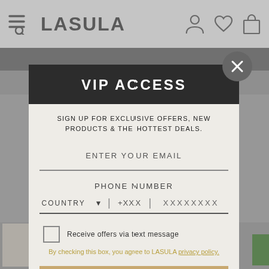LASULA
VIP ACCESS
SIGN UP FOR EXCLUSIVE OFFERS, NEW PRODUCTS & THE HOTTEST DEALS.
ENTER YOUR EMAIL
PHONE NUMBER
COUNTRY  ▾  |  +XXX  |  XXXXXXXX
Receive offers via text message
By checking this box, you agree to LASULA privacy policy.
SUBSCRIBE